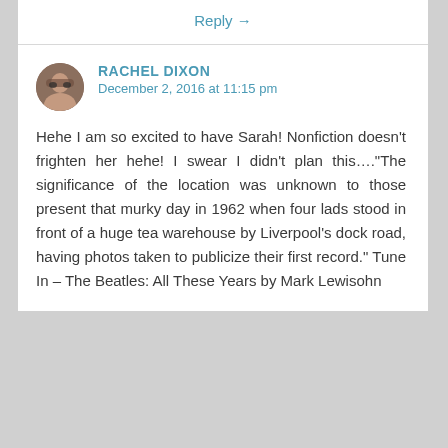Reply →
RACHEL DIXON
December 2, 2016 at 11:15 pm
Hehe I am so excited to have Sarah! Nonfiction doesn't frighten her hehe! I swear I didn't plan this...."The significance of the location was unknown to those present that murky day in 1962 when four lads stood in front of a huge tea warehouse by Liverpool's dock road, having photos taken to publicize their first record." Tune In – The Beatles: All These Years by Mark Lewisohn